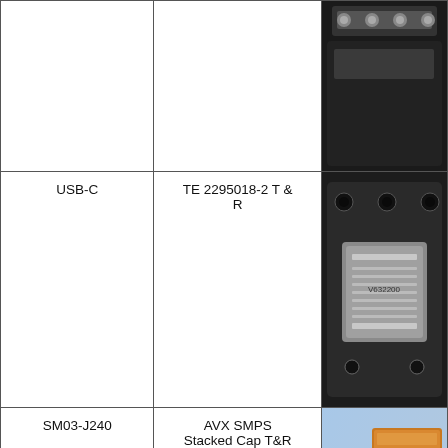| Connector Type | Part Number | Image |
| --- | --- | --- |
|  |  | (connector image top) |
| USB-C | TE 2295018-2 T & R | (USB-C connector image) |
| SM03-J240 | AVX SMPS Stacked Cap T&R | (stacked cap image) |
[Figure (photo): Top partial row showing a connector image cropped at the top of the page]
[Figure (photo): USB-C connector TE 2295018-2 mounted on dark panel with visible pin contacts and mounting holes]
[Figure (photo): AVX SMPS Stacked Cap T&R copper-colored stacked capacitor components on blue-grey background with a Message chat badge overlay]